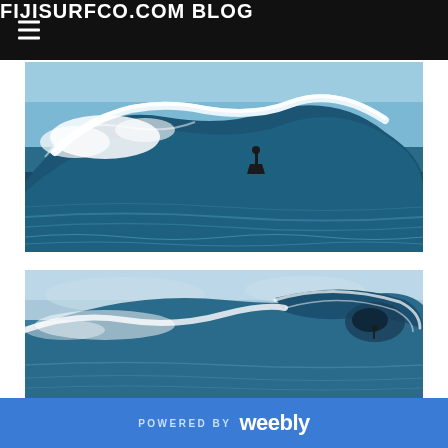FIJISURFCO.COM BLOG
[Figure (photo): Surfer riding a large dark blue ocean wave in Fiji, photographed from water level. Clear blue sky above, white spray on the wave crest.]
[Figure (photo): Close-up of a barreling ocean wave in Fiji, with a surfer visible inside the tube. Clear sky and ocean visible.]
POWERED BY weebly